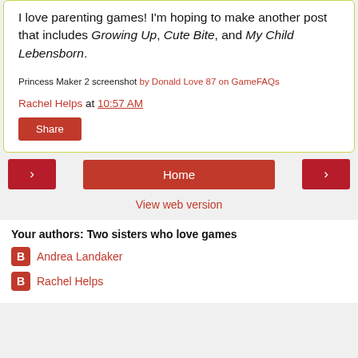I love parenting games! I'm hoping to make another post that includes Growing Up, Cute Bite, and My Child Lebensborn.
Princess Maker 2 screenshot by Donald Love 87 on GameFAQs
Rachel Helps at 10:57 AM
Share
< Home >
View web version
Your authors: Two sisters who love games
Andrea Landaker
Rachel Helps